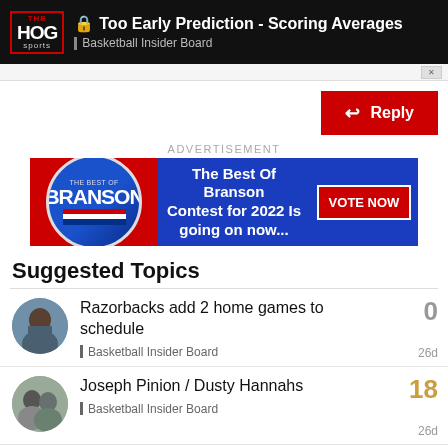Too Early Prediction - Scoring Averages | Basketball Insider Board
[Figure (other): Red Reply button with arrow icon]
ADVERTISEMENT
[Figure (other): The Best Of Branson Contest for 2022 Is going on now... VOTE NOW advertisement banner]
Suggested Topics
Razorbacks add 2 home games to schedule | Basketball Insider Board | 0 replies | 26d
Joseph Pinion / Dusty Hannahs | Basketball Insider Board | 18 replies | 26d
Squid begging for a new practice gym | Basketball Insider Board | 20 replies | 17d